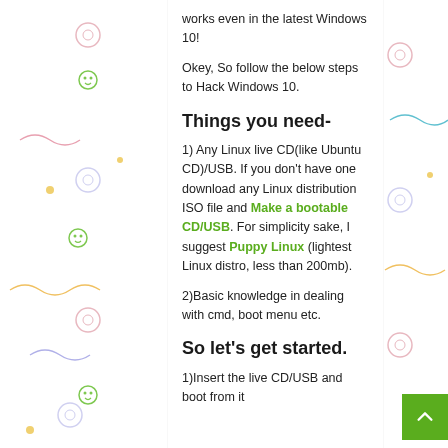works even in the latest Windows 10!
Okey, So follow the below steps to Hack Windows 10.
Things you need-
1) Any Linux live CD(like Ubuntu CD)/USB. If you don't have one download any Linux distribution ISO file and Make a bootable CD/USB. For simplicity sake, I suggest Puppy Linux (lightest Linux distro, less than 200mb).
2)Basic knowledge in dealing with cmd, boot menu etc.
So let's get started.
1)Insert the live CD/USB and boot from it